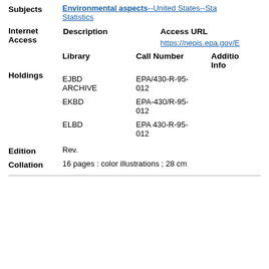Subjects: Environmental aspects--United States--Statistics
| Description | Access URL |  |
| --- | --- | --- |
|  | https://nepis.epa.gov/E... |
| Library | Call Number | Additional Info |
| --- | --- | --- |
| EJBD ARCHIVE | EPA/430-R-95-012 |  |
| EKBD | EPA-430/R-95-012 |  |
| ELBD | EPA 430-R-95-012 |  |
Edition: Rev.
Collation: 16 pages : color illustrations ; 28 cm